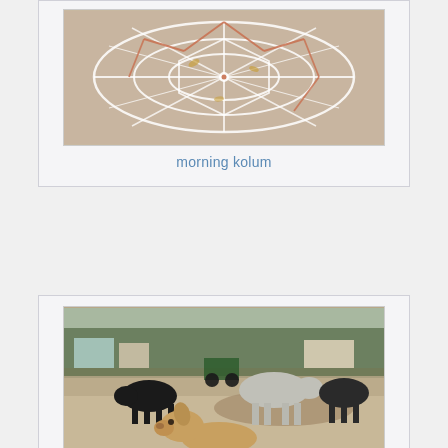[Figure (photo): Morning kolum (rangoli) pattern drawn with white powder on a stone/concrete surface, with geometric mandala-like design, orange/red accents, seen from above]
morning kolum
[Figure (photo): Street scene in India showing cattle (black and grey cows) standing on a dirt road with a dog in the foreground, shops and trees visible in the background]